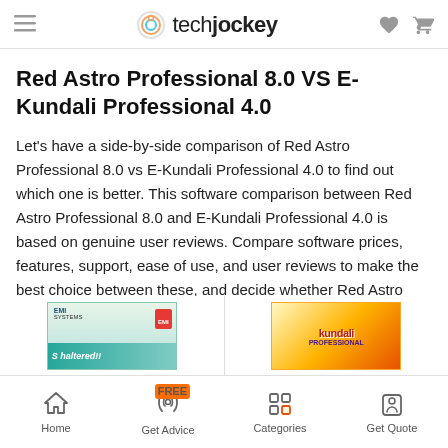techjockey
Red Astro Professional 8.0 VS E-Kundali Professional 4.0
Let's have a side-by-side comparison of Red Astro Professional 8.0 vs E-Kundali Professional 4.0 to find out which one is better. This software comparison between Red Astro Professional 8.0 and E-Kundali Professional 4.0 is based on genuine user reviews. Compare software prices, features, support, ease of use, and user reviews to make the best choice between these, and decide whether Red Astro Professional 8.0 or E-Kundali Professional 4.0 fits your business.
[Figure (photo): Two software product box images partially visible at bottom of page]
Home | Get Advice | Categories | Get Quote